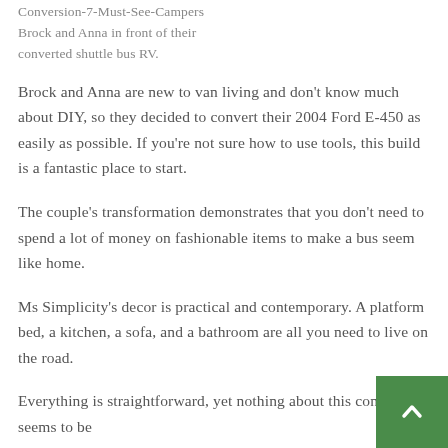Conversion-7-Must-See-Campers Brock and Anna in front of their converted shuttle bus RV.
Brock and Anna are new to van living and don't know much about DIY, so they decided to convert their 2004 Ford E-450 as easily as possible. If you're not sure how to use tools, this build is a fantastic place to start.
The couple's transformation demonstrates that you don't need to spend a lot of money on fashionable items to make a bus seem like home.
Ms Simplicity's decor is practical and contemporary. A platform bed, a kitchen, a sofa, and a bathroom are all you need to live on the road.
Everything is straightforward, yet nothing about this conversion seems to be